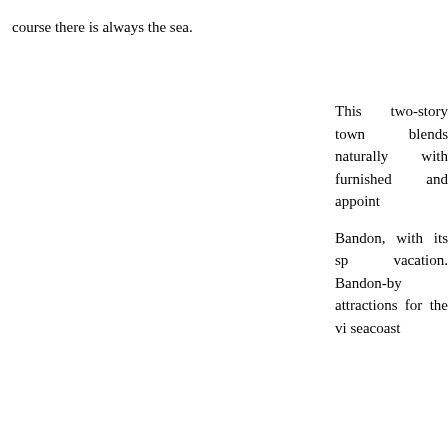course there is always the sea.
This two-story town blends naturally with furnished and appoint
Bandon, with its sp vacation. Bandon-by attractions for the vi seacoast